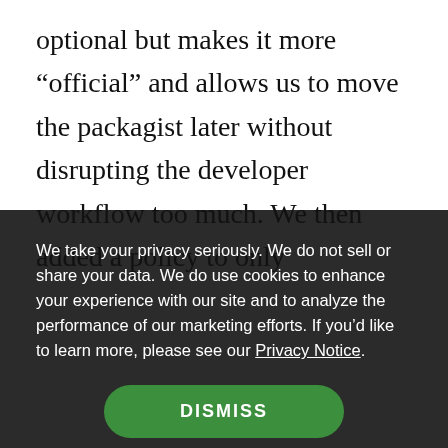optional but makes it more “official” and allows us to move the packagist later without disrupting the developer workflow too much. We then added a policy to only
We take your privacy seriously. We do not sell or share your data. We do use cookies to enhance your experience with our site and to analyze the performance of our marketing efforts. If you’d like to learn more, please see our Privacy Notice.
DISMISS